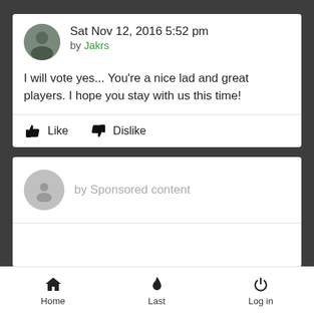Sat Nov 12, 2016 5:52 pm by Jakrs
I will vote yes... You're a nice lad and great players. I hope you stay with us this time!
Like  Dislike
by Sponsored content
Page 1 of 2
Home  Last  Log in